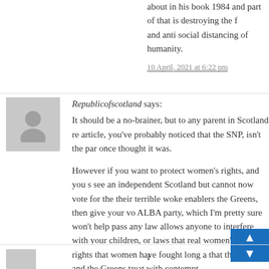about in his book 1984 and part of that is destroying the f and anti social distancing of humanity.
10 April, 2021 at 6:22 pm
Republicofscotland says: It should be a no-brainer, but to any parent in Scotland re article, you've probably noticed that the SNP, isn't the par once thought it was.
However if you want to protect women's rights, and you s see an independent Scotland but cannot now vote for the their terrible woke enablers the Greens, then give your vo ALBA party, which I'm pretty sure won't help pass any law allows anyone to interfere with your children, or laws that real women's rights, rights that women have fought long a that the SNP and the Greens treat with contempt.
Sturgeon would be quite happy to govern Scotland with a government but backed by the Greens, lets stop that by r many of the Greens from the list vote as possible this Ma
10 April, 2021 at 6:23 pm